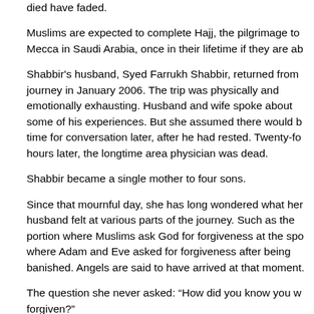died have faded.
Muslims are expected to complete Hajj, the pilgrimage to Mecca in Saudi Arabia, once in their lifetime if they are ab
Shabbir's husband, Syed Farrukh Shabbir, returned from journey in January 2006. The trip was physically and emotionally exhausting. Husband and wife spoke about some of his experiences. But she assumed there would b time for conversation later, after he had rested. Twenty-fo hours later, the longtime area physician was dead.
Shabbir became a single mother to four sons.
Since that mournful day, she has long wondered what her husband felt at various parts of the journey. Such as the portion where Muslims ask God for forgiveness at the spo where Adam and Eve asked for forgiveness after being banished. Angels are said to have arrived at that moment.
The question she never asked: “How did you know you w forgiven?”
The answer is an indescribable sense of calm, like nothin Shabbir had ever experienced.